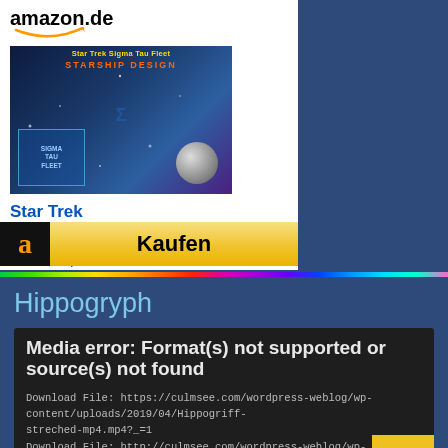[Figure (screenshot): Amazon.de product widget showing a Star Trek SigmaTau product image with logo and Kaufen (buy) button]
Star Trek SigmaTau...
EUR 17,60
[Figure (other): Rainbow gradient horizontal bar divider]
Hippogryph
Media error: Format(s) not supported or source(s) not found
Download File: https://culmsee.com/wordpress-weblog/wp-content/uploads/2019/04/Hippogriff-streched-mp4.mp4?_=1
Download File: http://culmsee.com/wordpress-weblog/wp-content/uploads/2019/04/Hi...-streched-mp4.mp4?_=1